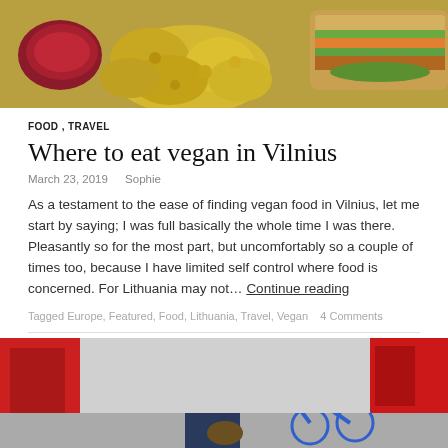[Figure (photo): Top portion of food photo showing lemons/potatoes, a bowl of jam/sauce, and a sandwich with vegetables]
FOOD , TRAVEL
Where to eat vegan in Vilnius
March 23, 2019   Sophie
As a testament to the ease of finding vegan food in Vilnius, let me start by saying; I was full basically the whole time I was there. Pleasantly so for the most part, but uncomfortably so a couple of times too, because I have limited self control where food is concerned. For Lithuania may not… Continue reading
Tagged Europe, Featured, Food, Lithuania, Travel, Vegan   4 Comments
[Figure (photo): Bottom portion of photo showing a person in a navy dress standing next to a blue bicycle with a basket, in front of red buildings]